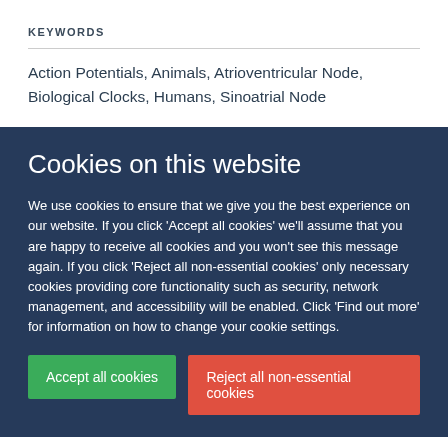KEYWORDS
Action Potentials, Animals, Atrioventricular Node, Biological Clocks, Humans, Sinoatrial Node
Cookies on this website
We use cookies to ensure that we give you the best experience on our website. If you click 'Accept all cookies' we'll assume that you are happy to receive all cookies and you won't see this message again. If you click 'Reject all non-essential cookies' only necessary cookies providing core functionality such as security, network management, and accessibility will be enabled. Click 'Find out more' for information on how to change your cookie settings.
Accept all cookies
Reject all non-essential cookies